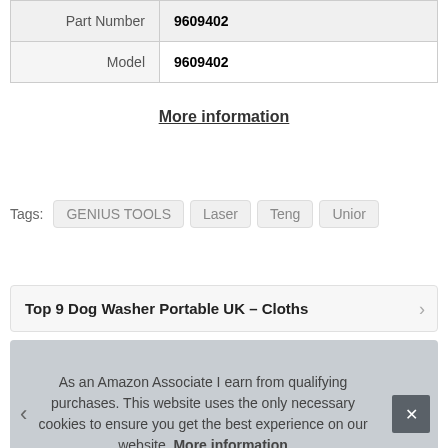|  |  |
| --- | --- |
| Part Number | 9609402 |
| Model | 9609402 |
More information
Tags: GENIUS TOOLS  Laser  Teng  Unior
Top 9 Dog Washer Portable UK – Cloths
As an Amazon Associate I earn from qualifying purchases. This website uses the only necessary cookies to ensure you get the best experience on our website. More information